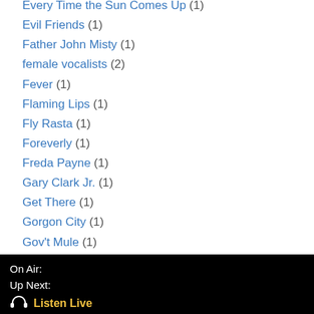Every Time the Sun Comes Up (1)
Evil Friends (1)
Father John Misty (1)
female vocalists (2)
Fever (1)
Flaming Lips (1)
Fly Rasta (1)
Foreverly (1)
Freda Payne (1)
Gary Clark Jr. (1)
Get There (1)
Gorgon City (1)
Gov't Mule (1)
Grammys (1)
Gran Pecador (1)
Grand Junction (1)
Great Lake Swimmers (1)
On Air:
Up Next:
🎧 Listen Live